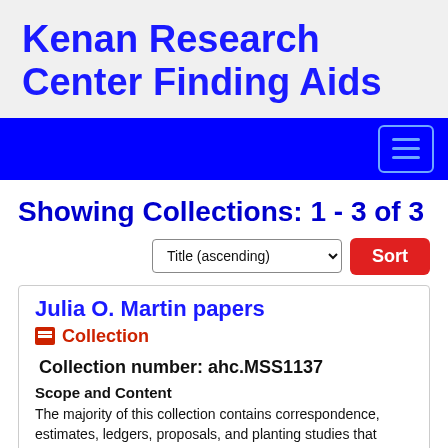Kenan Research Center Finding Aids
[Figure (screenshot): Blue navigation bar with hamburger menu button on the right]
Showing Collections: 1 - 3 of 3
Title (ascending) Sort
Julia O. Martin papers
Collection
Collection number: ahc.MSS1137
Scope and Content
The majority of this collection contains correspondence, estimates, ledgers, proposals, and planting studies that provide a history of Julia O.